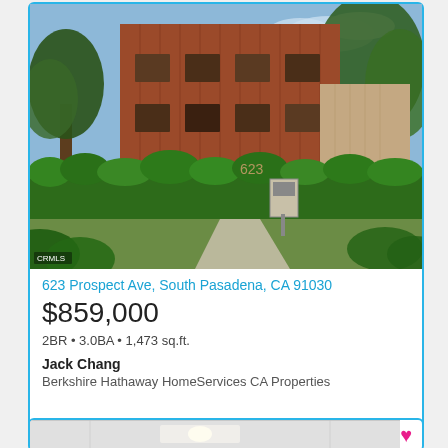[Figure (photo): Exterior photograph of a red/brown mid-century apartment building at 623 Prospect Ave, South Pasadena, surrounded by lush green hedges and trees. A mailbox kiosk and walkway are visible. CRMLS watermark in lower left corner.]
623 Prospect Ave, South Pasadena, CA 91030
$859,000
2BR • 3.0BA • 1,473 sq.ft.
Jack Chang
Berkshire Hathaway HomeServices CA Properties
[Figure (photo): Partial interior photo of a room with white/grey walls and a light fixture, partially visible at bottom of page.]